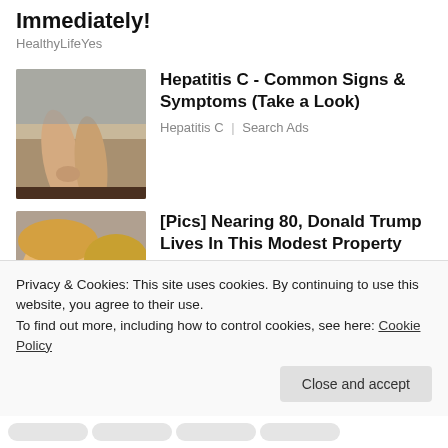Immediately!
HealthyLifeYes
[Figure (photo): Photo of woman's legs seated on a couch/bed, related to Hepatitis C ad]
Hepatitis C - Common Signs & Symptoms (Take a Look)
Hepatitis C | Search Ads
[Figure (photo): Photo of Donald Trump and Melania Trump close-up portrait]
[Pics] Nearing 80, Donald Trump Lives In This Modest Property
BuzzAura
Privacy & Cookies: This site uses cookies. By continuing to use this website, you agree to their use.
To find out more, including how to control cookies, see here: Cookie Policy
Close and accept